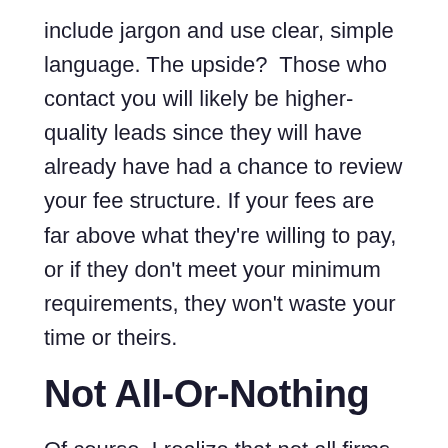include jargon and use clear, simple language. The upside? Those who contact you will likely be higher-quality leads since they will have already have had a chance to review your fee structure. If your fees are far above what they're willing to pay, or if they don't meet your minimum requirements, they won't waste your time or theirs.
Not All-Or-Nothing
Of course, I realize that not all firms feel comfortable posting complete fee schedules. If your firm is one of them, you're not alone. Fortunately, there is a middle ground between